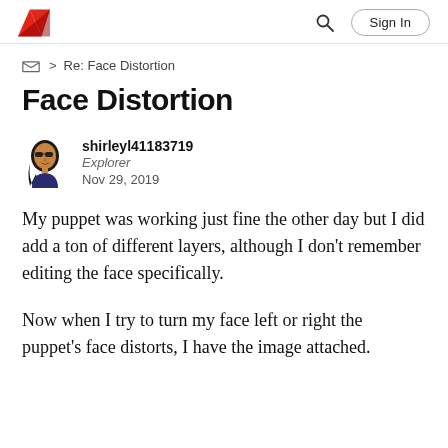Adobe | Search | Sign In
> Re: Face Distortion
Face Distortion
shirleyl41183719
Explorer
Nov 29, 2019
My puppet was working just fine the other day but I did add a ton of different layers, although I don't remember editing the face specifically.
Now when I try to turn my face left or right the puppet's face distorts, I have the image attached.